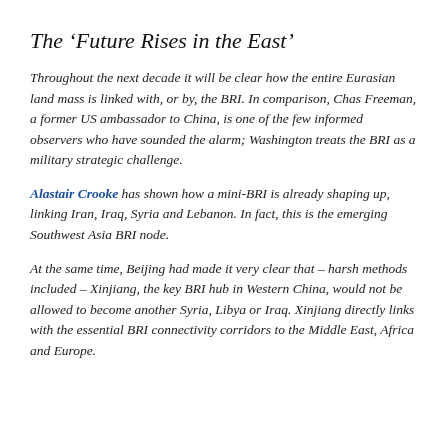The ‘Future Rises in the East’
Throughout the next decade it will be clear how the entire Eurasian land mass is linked with, or by, the BRI. In comparison, Chas Freeman, a former US ambassador to China, is one of the few informed observers who have sounded the alarm; Washington treats the BRI as a military strategic challenge.
Alastair Crooke has shown how a mini-BRI is already shaping up, linking Iran, Iraq, Syria and Lebanon. In fact, this is the emerging Southwest Asia BRI node.
At the same time, Beijing had made it very clear that – harsh methods included – Xinjiang, the key BRI hub in Western China, would not be allowed to become another Syria, Libya or Iraq. Xinjiang directly links with the essential BRI connectivity corridors to the Middle East, Africa and Europe.